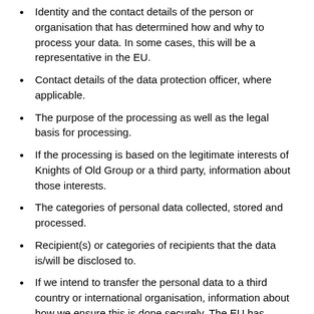Identity and the contact details of the person or organisation that has determined how and why to process your data. In some cases, this will be a representative in the EU.
Contact details of the data protection officer, where applicable.
The purpose of the processing as well as the legal basis for processing.
If the processing is based on the legitimate interests of Knights of Old Group or a third party, information about those interests.
The categories of personal data collected, stored and processed.
Recipient(s) or categories of recipients that the data is/will be disclosed to.
If we intend to transfer the personal data to a third country or international organisation, information about how we ensure this is done securely. The EU has approved sending personal data to some countries because they meet a minimum standard of data protection. In other cases, we will ensure there are specific measures in place to secure your information.